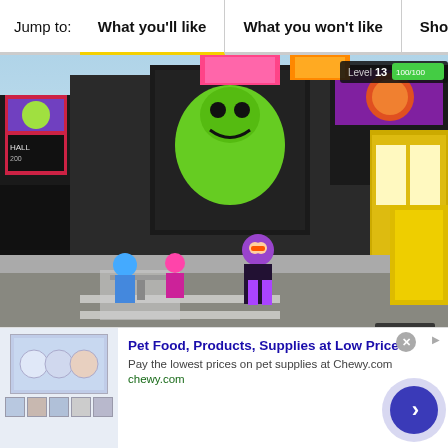Jump to: What you'll like | What you won't like | Should you p
[Figure (screenshot): Splatoon 2 Inkopolis Square gameplay screenshot showing colorful urban plaza with animated characters, billboards, and storefronts. HUD shows Level 13 and score in top right. Menu button visible bottom right.]
Splatoon 2 Inkopolis Square (Image credit: iMore)
Unique take on the genre Super
[Figure (screenshot): Advertisement overlay for Chewy.com: 'Pet Food, Products, Supplies at Low Prices - Pay the lowest prices on pet supplies at Chewy.com' with product images, close button, ad icon, and navigation arrow.]